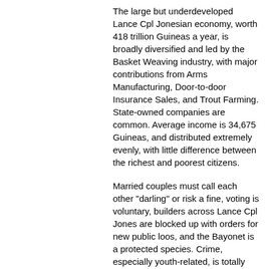average income tax rate is 15.2%, but much higher for the wealthy.
The large but underdeveloped Lance Cpl Jonesian economy, worth 418 trillion Guineas a year, is broadly diversified and led by the Basket Weaving industry, with major contributions from Arms Manufacturing, Door-to-door Insurance Sales, and Trout Farming. State-owned companies are common. Average income is 34,675 Guineas, and distributed extremely evenly, with little difference between the richest and poorest citizens.
Married couples must call each other "darling" or risk a fine, voting is voluntary, builders across Lance Cpl Jones are blocked up with orders for new public loos, and the Bayonet is a protected species. Crime, especially youth-related, is totally unknown, thanks to a capable police force and progressive social policies in education and welfare. Lance Cpl Jones's national animal is the Bayonet, which frolics freely in the nation's many lush forests.